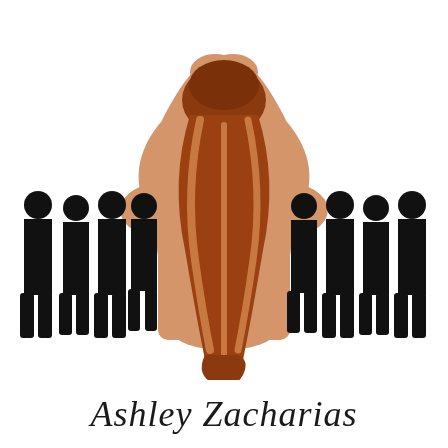[Figure (illustration): Book cover image showing the back of a woman with auburn/red curly hair held up with arms raised, bare back visible, with black silhouettes of groups of men standing on either side of her against a white background.]
Ashley Zacharias